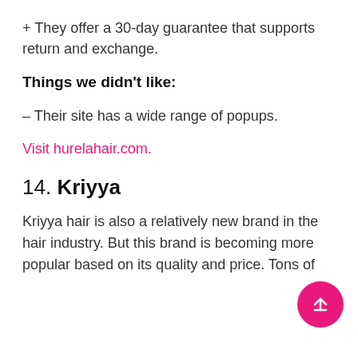+ They offer a 30-day guarantee that supports return and exchange.
Things we didn't like:
– Their site has a wide range of popups.
Visit hurelahair.com.
14. Kriyya
Kriyya hair is also a relatively new brand in the hair industry. But this brand is becoming more popular based on its quality and price. Tons of